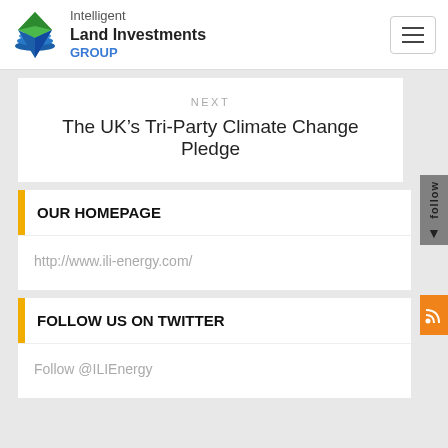Intelligent Land Investments GROUP
NEXT
The UK's Tri-Party Climate Change Pledge
OUR HOMEPAGE
http://www.ili-energy.com/
FOLLOW US ON TWITTER
Follow @ILIEnergy